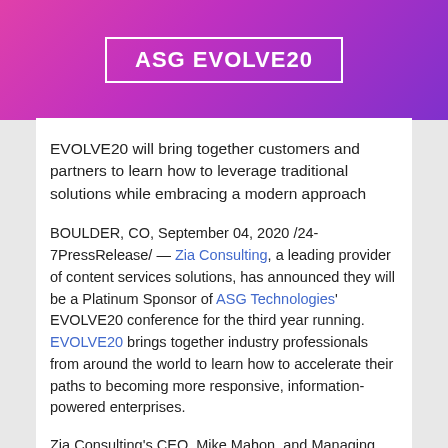[Figure (logo): ASG EVOLVE20 banner with pink-to-purple gradient background and white bordered box containing white bold text 'ASG EVOLVE20']
EVOLVE20 will bring together customers and partners to learn how to leverage traditional solutions while embracing a modern approach
BOULDER, CO, September 04, 2020 /24-7PressRelease/ — Zia Consulting, a leading provider of content services solutions, has announced they will be a Platinum Sponsor of ASG Technologies' EVOLVE20 conference for the third year running. EVOLVE20 brings together industry professionals from around the world to learn how to accelerate their paths to becoming more responsive, information-powered enterprises.
Zia Consulting's CEO, Mike Mahon, and Managing